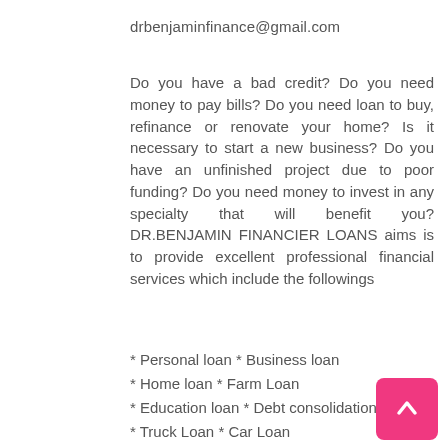drbenjaminfinance@gmail.com
Do you have a bad credit? Do you need money to pay bills? Do you need loan to buy, refinance or renovate your home? Is it necessary to start a new business? Do you have an unfinished project due to poor funding? Do you need money to invest in any specialty that will benefit you? DR.BENJAMIN FINANCIER LOANS aims is to provide excellent professional financial services which include the followings
* Personal loan * Business loan
* Home loan * Farm Loan
* Education loan * Debt consolidation loan
* Truck Loan * Car Loan
* Refinery Loan
* Equipment Loan